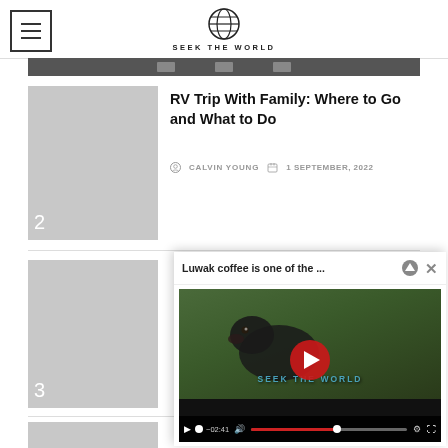SEEK THE WORLD
[Figure (screenshot): Dark navigation bar partially visible at top]
[Figure (photo): Thumbnail placeholder number 2 for RV Trip article]
RV Trip With Family: Where to Go and What to Do
CALVIN YOUNG   1 SEPTEMBER, 2022
[Figure (photo): Thumbnail placeholder number 3]
[Figure (screenshot): Video popup: Luwak coffee is one of the ... with video player showing animal and play button, controls showing -02:41]
[Figure (photo): Thumbnail placeholder number 4 (partially visible)]